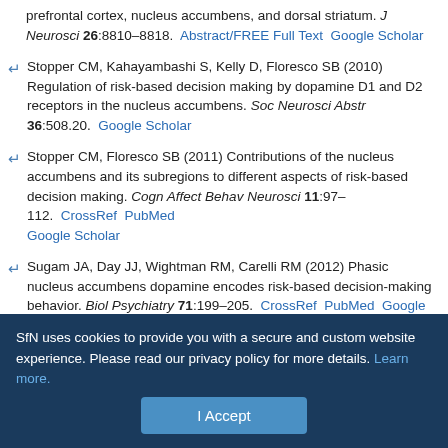prefrontal cortex, nucleus accumbens, and dorsal striatum. J Neurosci 26:8810–8818. Abstract/FREE Full Text  Google Scholar
Stopper CM, Kahayambashi S, Kelly D, Floresco SB (2010) Regulation of risk-based decision making by dopamine D1 and D2 receptors in the nucleus accumbens. Soc Neurosci Abstr 36:508.20. Google Scholar
Stopper CM, Floresco SB (2011) Contributions of the nucleus accumbens and its subregions to different aspects of risk-based decision making. Cogn Affect Behav Neurosci 11:97–112. CrossRef PubMed Google Scholar
Sugam JA, Day JJ, Wightman RM, Carelli RM (2012) Phasic nucleus accumbens dopamine encodes risk-based decision-making behavior. Biol Psychiatry 71:199–205. CrossRef PubMed Google Scholar
Wanat MJ, Kuhnen CM, Phillips PE (2010) Delays conferred by escalating
SfN uses cookies to provide you with a secure and custom website experience. Please read our privacy policy for more details. Learn more.